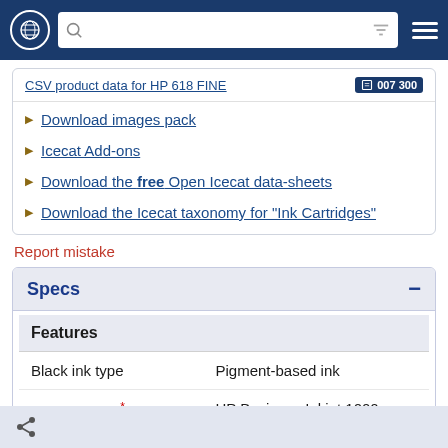Navigation bar with globe icon, search bar, and hamburger menu
CSV product data for HP 518 FINE
Download images pack
Icecat Add-ons
Download the free Open Icecat data-sheets
Download the Icecat taxonomy for "Ink Cartridges"
Report mistake
Specs
| Feature | Value |
| --- | --- |
| Black ink type | Pigment-based ink |
| Compatibility * | HP Business Inkjet 1000, Business Inkjet 1100dtn, Business Inkjet 2300, Business Inkjet 2800, Business Inkjet 2800dtn |
Share icon